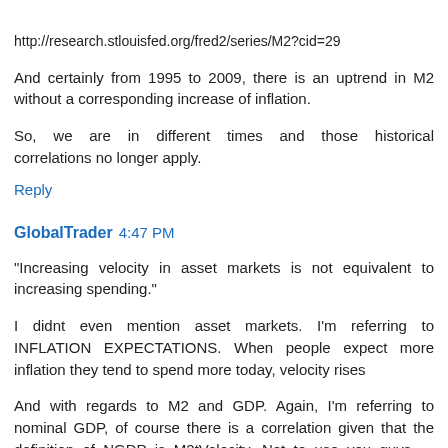http://research.stlouisfed.org/fred2/series/M2?cid=29
And certainly from 1995 to 2009, there is an uptrend in M2 without a corresponding increase of inflation.
So, we are in different times and those historical correlations no longer apply.
Reply
GlobalTrader 4:47 PM
"Increasing velocity in asset markets is not equivalent to increasing spending."
I didnt even mention asset markets. I'm referring to INFLATION EXPECTATIONS. When people expect more inflation they tend to spend more today, velocity rises
And with regards to M2 and GDP. Again, I'm referring to nominal GDP, of course there is a correlation given that the definition of NGDP is M2tVelocity. Not to use you guys